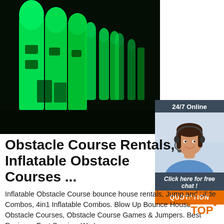[Figure (photo): Green glowing inflatable obstacle course structures at night, photographed from the side showing multiple tunnel-like arches lit with green LED lighting against a dark background.]
[Figure (photo): Customer service agent widget showing a smiling woman with dark hair wearing a headset and blue shirt, with '24/7 Online' label, 'Click here for free chat!' text, and an orange QUOTATION button, all on a dark blue-gray background.]
Obstacle Course Rentals, Inflatable Obstacle Courses ...
Inflatable Obstacle Course bounce house rentals, Jump and Slide Combos, 4in1 Inflatable Combos. Blow Up Bounce House Obstacle Courses, Obstacle Course Games & Jumpers. Best Reviews. Fast Service. We Luv
[Figure (logo): Orange TOP badge/logo with dotted arc above the text]